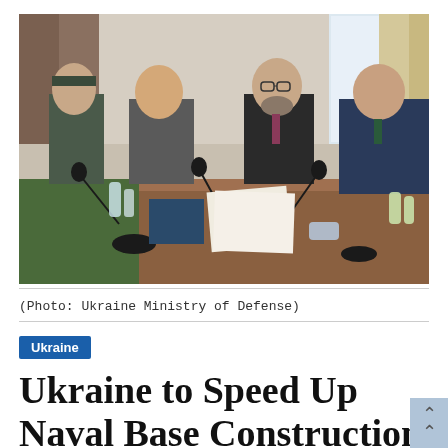[Figure (photo): Four men in suits and military uniform seated at a conference table with microphones, papers, and water bottles. Wood-paneled meeting room with curtained windows in the background.]
(Photo: Ukraine Ministry of Defense)
Ukraine
Ukraine to Speed Up Naval Base Construction